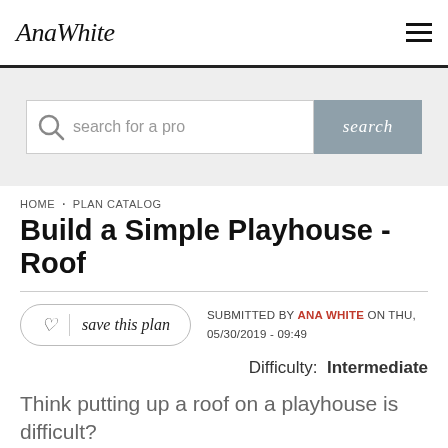AnaWhite
[Figure (screenshot): Search bar with magnifying glass icon, placeholder text 'search for a pro', and a grey 'search' button]
HOME · PLAN CATALOG
Build a Simple Playhouse - Roof
SUBMITTED BY ANA WHITE ON THU, 05/30/2019 - 09:49
Difficulty: Intermediate
Think putting up a roof on a playhouse is difficult? Reconsider with this plan. This simple roof design will take all of the confusion out of rafters! We've had the pleasure...